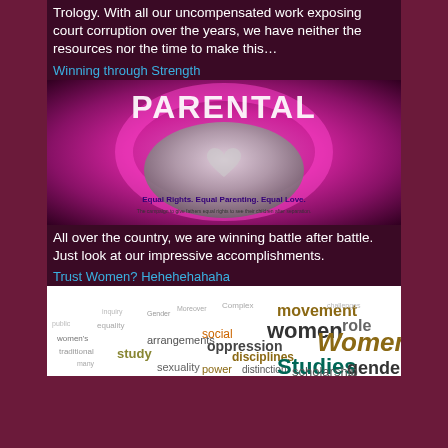Trology. With all our uncompensated work exposing court corruption over the years, we have neither the resources nor the time to make this…
Winning through Strength
[Figure (photo): Image showing hands forming a heart shape with text 'Equal Rights. Equal Parenting. Equal Love.' and 'The campaign to give fathers equal rights to see their children after separation.' The word PARENTAL appears at the top in large letters.]
All over the country, we are winning battle after battle. Just look at our impressive accomplishments.
Trust Women? Hehehehahaha
[Figure (illustration): Word cloud related to Women's Studies featuring prominent words: Women's, Studies, women, movement, role, oppression, disciplines, study, sexuality, power, social, arrangements, distinction, scholarship, gender, and many smaller related academic terms.]